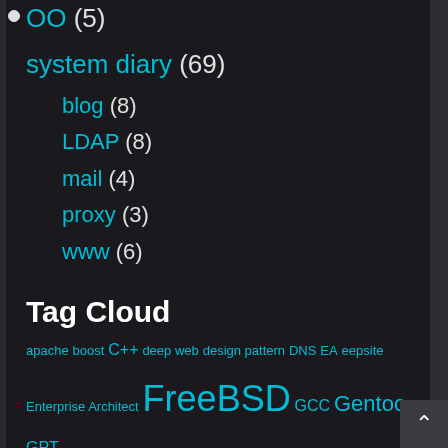OO (5)
system diary (69)
blog (8)
LDAP (8)
mail (4)
proxy (3)
www (6)
Tag Cloud
apache boost C++ deep web design pattern DNS EA eepsite Enterprise Architect FreeBSD GCC Gentoo GPT graphviz hidden service https i2p LDAP LLVM mail MySQL OOP pf PHP proxy Rational Software Architect Redmine RSA samba SNI Sparx squid SSL Subversion SVN tor UML Unified Process UP virtual host virus Visual Paradigm VP-